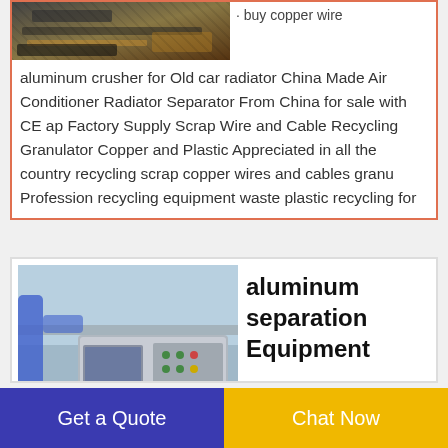[Figure (photo): Photo of industrial crusher equipment, dark machinery with orange/brown tones]
buy copper wire aluminum crusher for Old car radiator China Made Air Conditioner Radiator Separator From China for sale with CE ap Factory Supply Scrap Wire and Cable Recycling Granulator Copper and Plastic Appreciated in all the country recycling scrap copper wires and cables granu Profession recycling equipment waste plastic recycling for
[Figure (photo): Photo of large industrial aluminum separation equipment in a factory setting, workers with hard hats in foreground]
aluminum separation Equipment
Get a Quote
Chat Now